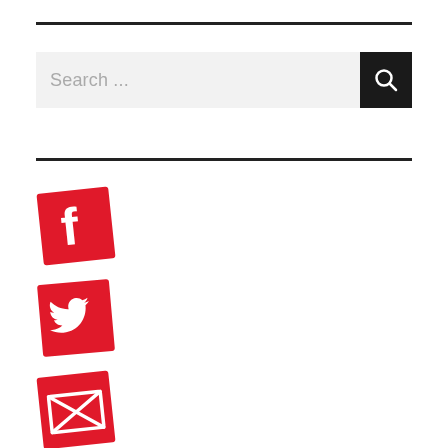[Figure (screenshot): Search bar with text 'Search ...' and a dark search button with magnifying glass icon]
[Figure (logo): Red Facebook icon (tilted square with white 'f' letter)]
[Figure (logo): Red Twitter icon (tilted square with white bird)]
[Figure (logo): Red Email/envelope icon (tilted square with white envelope/X pattern)]